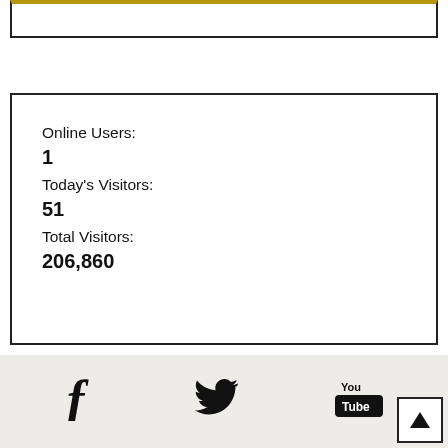Online Users:
1
Today's Visitors:
51
Total Visitors:
206,860
[Figure (infographic): Social media icons: Facebook (f), Twitter (bird), YouTube (You Tube logo)]